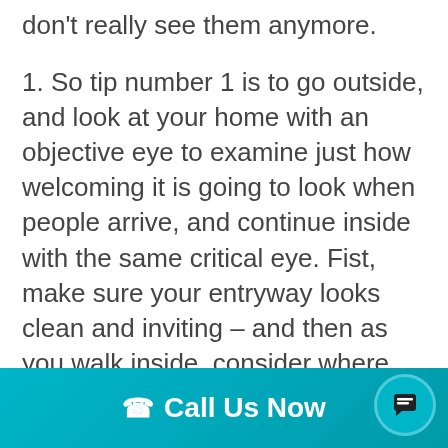don't really see them anymore.
1. So tip number 1 is to go outside, and look at your home with an objective eye to examine just how welcoming it is going to look when people arrive, and continue inside with the same critical eye. Fist, make sure your entryway looks clean and inviting – and then as you walk inside, consider where you are going to store shoes, coats and bags etc. Then, really have a good look throughout your home. All those things you might leave in a convenient spot, like rows of shoes, a pile of magazines, a host of condiments, and/or
Call Us Now